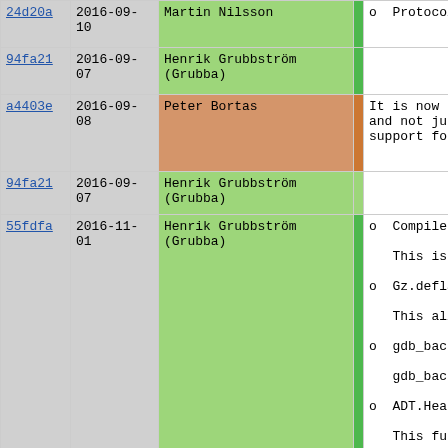| hash | date | author | bar | content |
| --- | --- | --- | --- | --- |
| 24d20a | 2016-09-10 | Martin Nilsson | | | o  Protocols |
| 94fa21 | 2016-09-07 | Henrik Grubbström (Grubba) | | |  |
| a4403e | 2016-09-08 | Peter Bortas | | | It is now
and not ju
support fo |
| 94fa21 | 2016-09-07 | Henrik Grubbström (Grubba) | | |  |
| 55fdfa | 2016-11-01 | Henrik Grubbström (Grubba) | | | o  CompilerEr

   This is a

o  Gz.deflate

   This allov

o  gdb_backtr

   gdb_backtr

o  ADT.Heap(

   This funct |
| 8b2a11 | 2016-11-05 | Arne Goedeke | | | o  Protocols

   Parse quer |
| 94fa21 | 2016-11-07 | Henrik Grubbström (Grubba) | ... | Rem fi |